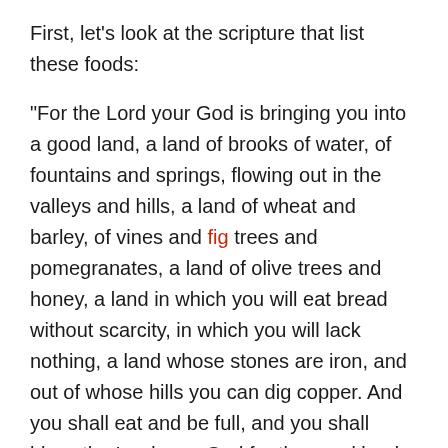First, let's look at the scripture that list these foods:
“For the Lord your God is bringing you into a good land, a land of brooks of water, of fountains and springs, flowing out in the valleys and hills, a land of wheat and barley, of vines and fig trees and pomegranates, a land of olive trees and honey, a land in which you will eat bread without scarcity, in which you will lack nothing, a land whose stones are iron, and out of whose hills you can dig copper. And you shall eat and be full, and you shall bless the Lord your God for the good land he has given you. Deuteronomy 8:7-10
I’m excited to dive into these verses and the foods God provided in abundance in the promised land! I hope you are, too.